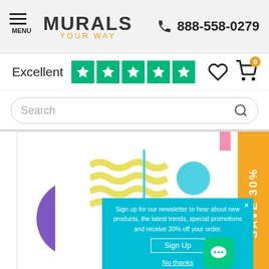MURALS YOUR WAY — 888-558-0279
Excellent ★★★★★
Search
[Figure (screenshot): Murals Your Way website homepage screenshot showing decorative banner with geometric shapes (yellow wavy lines, cyan circle, purple arcs, pink bar, diagonal line), a SAVE 30% orange tab on the right, a newsletter signup popup in teal/cyan at the bottom reading 'Sign up for our newsletter to hear about new products, the latest trends, special promotions and receive 30% off your order' with Sign Up button and No thanks link, and a green chat bubble icon.]